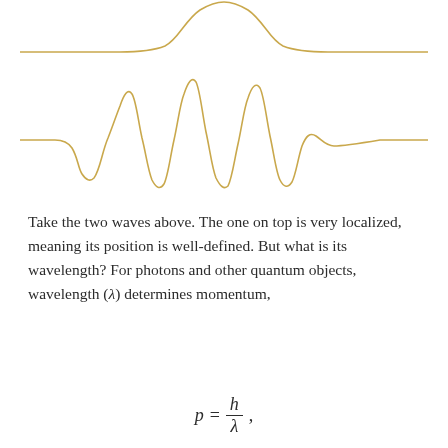[Figure (continuous-plot): Two wave diagrams stacked vertically. Top: a localized wave packet (Gaussian envelope), a flat baseline with a single peaked bump in the center, drawn in golden/amber color. Bottom: an oscillatory wave packet with multiple oscillations visible under a similar envelope — several full sinusoidal cycles visible under an amplitude modulation — also in golden/amber color.]
Take the two waves above. The one on top is very localized, meaning its position is well-defined. But what is its wavelength? For photons and other quantum objects, wavelength (λ) determines momentum,